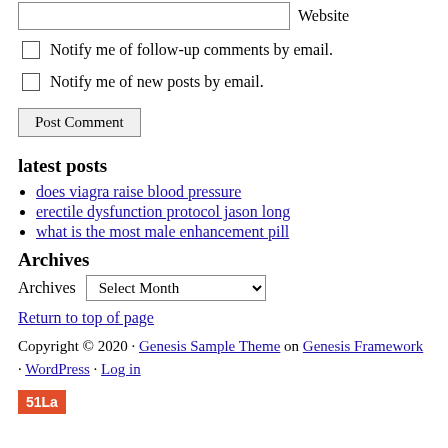Website (input field)
Notify me of follow-up comments by email.
Notify me of new posts by email.
Post Comment (button)
latest posts
does viagra raise blood pressure
erectile dysfunction protocol jason long
what is the most male enhancement pill
Archives
Archives Select Month (dropdown)
Return to top of page
Copyright © 2020 · Genesis Sample Theme on Genesis Framework · WordPress · Log in
51La